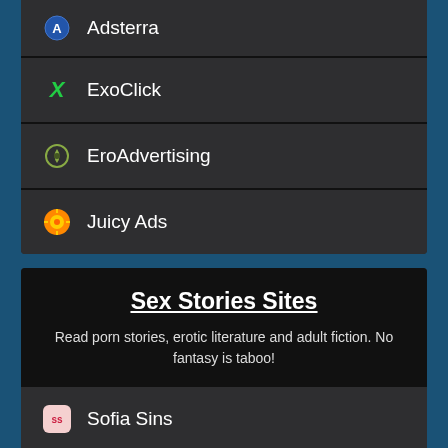Adsterra
ExoClick
EroAdvertising
Juicy Ads
Sex Stories Sites
Read porn stories, erotic literature and adult fiction. No fantasy is taboo!
Sofia Sins
Illustrated Sex Stories
Literotica